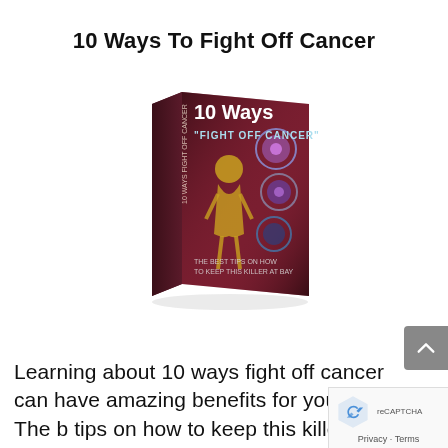10 Ways To Fight Off Cancer
[Figure (illustration): 3D rendered book cover titled '10 Ways Fight Off Cancer' with dark red/maroon background, showing a human figure and cancer cell imagery]
Learning about 10 ways fight off cancer can have amazing benefits for your life! The b tips on how to keep this killer at bay.